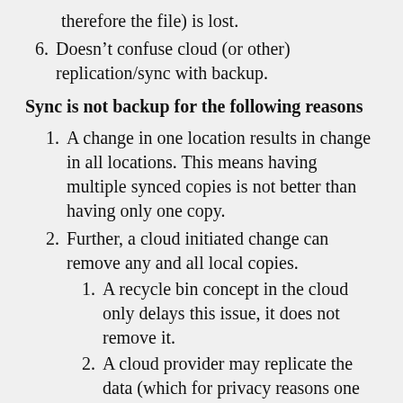therefore the file) is lost.
6. Doesn't confuse cloud (or other) replication/sync with backup.
Sync is not backup for the following reasons
1. A change in one location results in change in all locations. This means having multiple synced copies is not better than having only one copy.
2. Further, a cloud initiated change can remove any and all local copies.
1. A recycle bin concept in the cloud only delays this issue, it does not remove it.
2. A cloud provider may replicate the data (which for privacy reasons one might